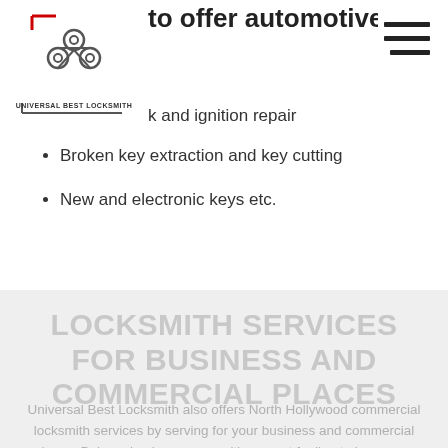to offer automotive services such a
[Figure (logo): Universal Best Locksmith logo with crossed keys graphic and text]
[Figure (other): Hamburger navigation menu icon (three horizontal lines)]
k and ignition repair
Broken key extraction and key cutting
New and electronic keys etc.
LOCKSMITH SERVICES FOR BUSINESS AND COMMERCIAL PLACES
Universal Best Locksmith also offers North Hollywood commercial locksmith services by serving for your business and commercial places. Being a business owner, it's a great feeling to have your customer's assured that they are safe and secure at your place. We understand this need and can be available to you